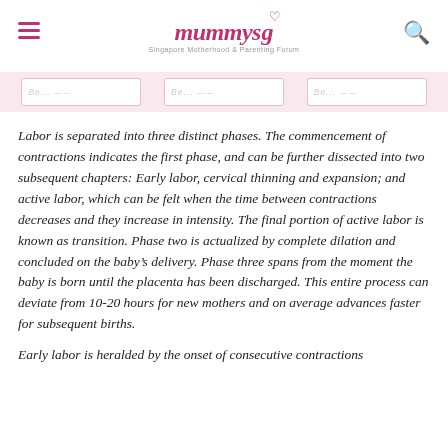mummysg — Singapore Motherhood & Parenting Forum
[Figure (illustration): Banner strip with three partially visible card/ticket graphics on a pink background]
Labor is separated into three distinct phases. The commencement of contractions indicates the first phase, and can be further dissected into two subsequent chapters: Early labor, cervical thinning and expansion; and active labor, which can be felt when the time between contractions decreases and they increase in intensity. The final portion of active labor is known as transition. Phase two is actualized by complete dilation and concluded on the baby's delivery. Phase three spans from the moment the baby is born until the placenta has been discharged. This entire process can deviate from 10-20 hours for new mothers and on average advances faster for subsequent births.
Early labor is heralded by the onset of consecutive contractions